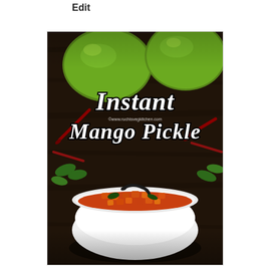Edit
[Figure (photo): Food photography showing instant mango pickle in a white bowl with green mangoes, dried red chillies, and curry leaves in the background on a dark wooden surface. Text overlay reads 'Instant Mango Pickle' with watermark 'www.ruchisvegkitchen.com']